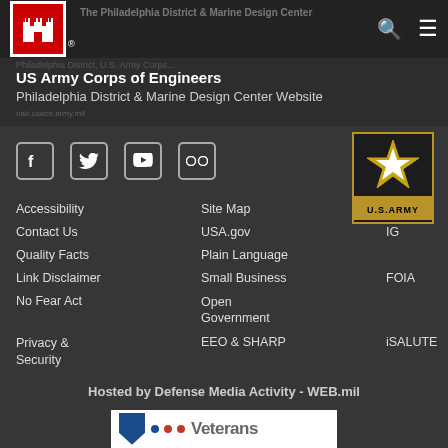The Philadelphia District & Marine Design Center — US Army Corps of Engineers
US Army Corps of Engineers
Philadelphia District & Marine Design Center Website
[Figure (logo): Social media icons: Facebook, Twitter, YouTube, Flickr; US Army star logo]
Accessibility
Site Map
IG
Contact Us
USA.gov
FOIA
Quality Facts
Plain Language
iSALUTE
Link Disclaimer
Small Business
No Fear Act
Open Government
Privacy & Security
EEO & SHARP
Hosted by Defense Media Activity - WEB.mil
[Figure (logo): Veterans logo banner]